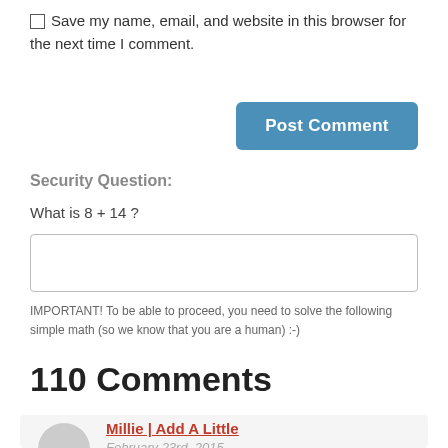Save my name, email, and website in this browser for the next time I comment.
Post Comment
Security Question:
What is 8 + 14 ?
IMPORTANT! To be able to proceed, you need to solve the following simple math (so we know that you are a human) :-)
110 Comments
Millie | Add A Little
February 23rd, 2015